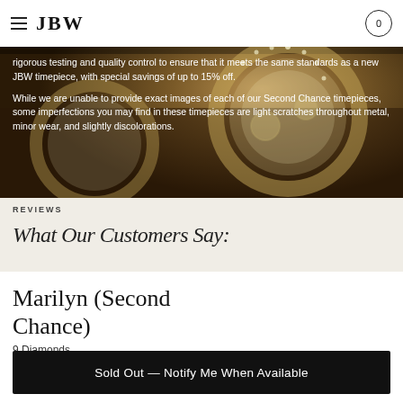JBW
[Figure (photo): Close-up photo of luxury diamond-studded JBW watches on a wooden surface, used as hero background image]
rigorous testing and quality control to ensure that it meets the same standards as a new JBW timepiece, with special savings of up to 15% off.
While we are unable to provide exact images of each of our Second Chance timepieces, some imperfections you may find in these timepieces are light scratches throughout metal, minor wear, and slightly discolorations.
REVIEWS
What Our Customers Say:
Marilyn (Second Chance)
$129
9 Diamonds
Sold Out — Notify Me When Available